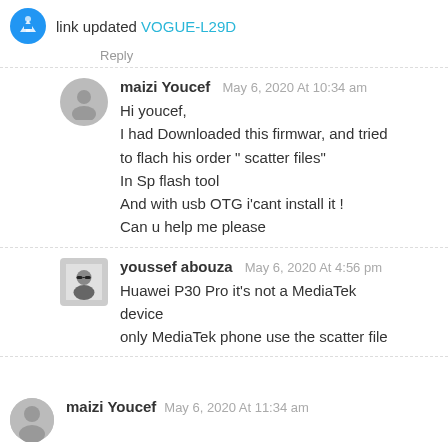link updated VOGUE-L29D
Reply
maizi Youcef   May 6, 2020 At 10:34 am
Hi youcef,
I had Downloaded this firmwar, and tried to flach his order " scatter files"
In Sp flash tool
And with usb OTG i'cant install it !
Can u help me please
youssef abouza   May 6, 2020 At 4:56 pm
Huawei P30 Pro it's not a MediaTek device
only MediaTek phone use the scatter file
maizi Youcef   May 6, 2020 At 11:34 am